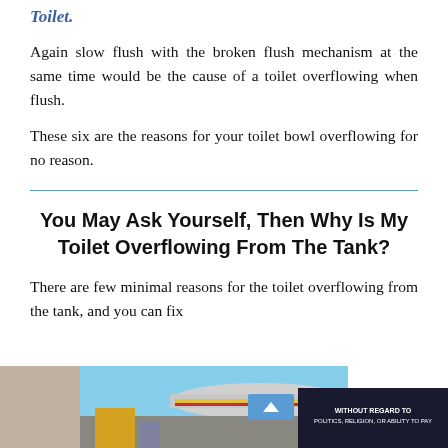Toilet.
Again slow flush with the broken flush mechanism at the same time would be the cause of a toilet overflowing when flush.
These six are the reasons for your toilet bowl overflowing for no reason.
You May Ask Yourself, Then Why Is My Toilet Overflowing From The Tank?
There are few minimal reasons for the toilet overflowing from the tank, and you can fix
[Figure (photo): Advertisement image showing an airplane being loaded with cargo, with a dark overlay reading WITHOUT REGARD TO POLITICS, RELIGION, OR ABILITY TO PAY, and a blue scroll-up button]